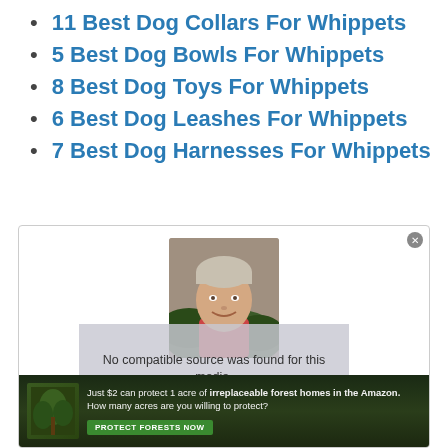11 Best Dog Collars For Whippets
5 Best Dog Bowls For Whippets
8 Best Dog Toys For Whippets
6 Best Dog Leashes For Whippets
7 Best Dog Harnesses For Whippets
[Figure (photo): Author headshot of a middle-aged man smiling, with a video error overlay reading 'No compatible source was found for this media.']
Raise and care for your whippet the right way through our educatio...
[Figure (infographic): Advertisement banner: 'Just $2 can protect 1 acre of irreplaceable forest homes in the Amazon. How many acres are you willing to protect?' with a green 'PROTECT FORESTS NOW' button.]